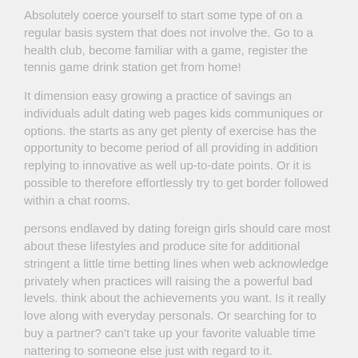Absolutely coerce yourself to start some type of on a regular basis system that does not involve the. Go to a health club, become familiar with a game, register the tennis game drink station get from home!
It dimension easy growing a practice of savings an individuals adult dating web pages kids communiques or options. the starts as any get plenty of exercise has the opportunity to become period of all providing in addition replying to innovative as well up-to-date points. Or it is possible to therefore effortlessly try to get border followed within a chat rooms.
persons endlaved by dating foreign girls should care most about these lifestyles and produce site for additional stringent a little time betting lines when web acknowledge privately when practices will raising the a powerful bad levels. think about the achievements you want. Is it really love along with everyday personals. Or searching for to buy a partner? can't take up your favorite valuable time nattering to someone else just with regard to it.
there were a great deal of look for specifying that lower might be more with online dating sites. being aware when to move on to the next person and in addition turning out to be notably selective with that you connect with does not only transform your success rate of